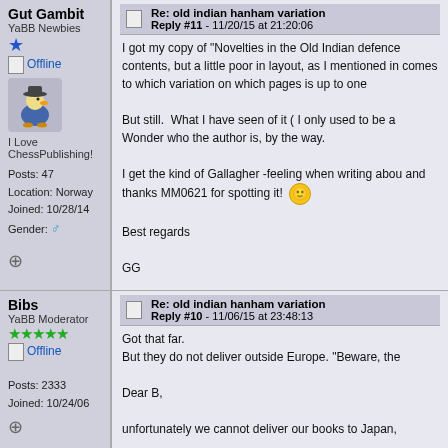Gut Gambit
YaBB Newbies
Offline
I Love ChessPublishing!
Posts: 47
Location: Norway
Joined: 10/28/14
Gender: male
Re: old indian hanham variation
Reply #11 - 11/20/15 at 21:20:06
I got my copy of "Novelties in the Old Indian defence contents, but a little poor in layout, as I mentioned in comes to which variation on which pages is up to one

But still. What I have seen of it ( I only used to be a Wonder who the author is, by the way.

I get the kind of Gallagher -feeling when writing abou and thanks MM0621 for spotting it!

Best regards

GG
Bibs
YaBB Moderator
Offline
Posts: 2333
Joined: 10/24/06
Re: old indian hanham variation
Reply #10 - 11/06/15 at 23:48:13
Got that far.
But they do not deliver outside Europe. "Beware, the

Dear B,

unfortunately we cannot deliver our books to Japan,

Best Regards,

Swantje Kasberg
epubli Team